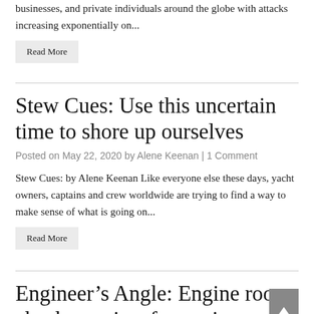businesses, and private individuals around the globe with attacks increasing exponentially on...
Read More
Stew Cues: Use this uncertain time to shore up ourselves
Posted on May 22, 2020 by Alene Keenan | 1 Comment
Stew Cues: by Alene Keenan Like everyone else these days, yacht owners, captains and crew worldwide are trying to find a way to make sense of what is going on...
Read More
Engineer's Angle: Engine room checks not just for engineers